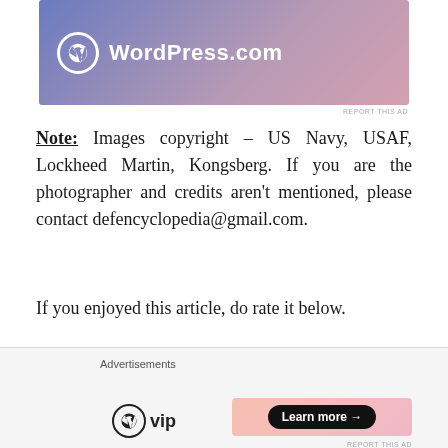[Figure (screenshot): WordPress.com advertisement banner with gradient blue-pink background and WordPress logo]
Note: Images copyright – US Navy, USAF, Lockheed Martin, Kongsberg. If you are the photographer and credits aren't mentioned, please contact defencyclopedia@gmail.com.
If you enjoyed this article, do rate it below.
Advertisements
[Figure (screenshot): Orange advertisement banner: Search, browse, and email with more privacy. All in One Free App.]
Advertisements
[Figure (screenshot): WordPress VIP logo and Learn more button on gradient pink background]